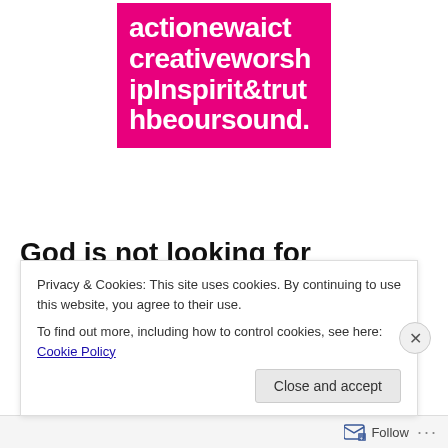[Figure (logo): Pink/magenta square logo block with white text reading: actionewaict creativeworship Inspirit&truthbeoursound.]
God is not looking for singers.  He is looking for worshipers.
Those that worship the Father must worship in spirit +
Privacy & Cookies: This site uses cookies. By continuing to use this website, you agree to their use.
To find out more, including how to control cookies, see here: Cookie Policy
Close and accept
Follow ...